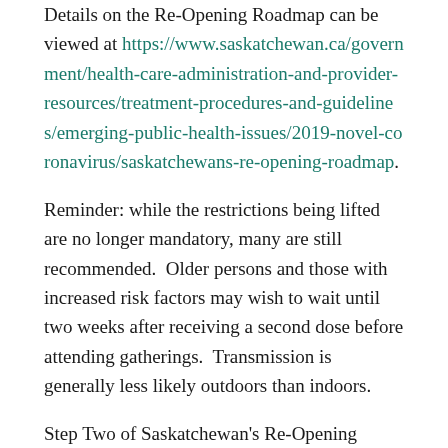Details on the Re-Opening Roadmap can be viewed at https://www.saskatchewan.ca/government/health-care-administration-and-provider-resources/treatment-procedures-and-guidelines/emerging-public-health-issues/2019-novel-coronavirus/saskatchewans-re-opening-roadmap.
Reminder: while the restrictions being lifted are no longer mandatory, many are still recommended.  Older persons and those with increased risk factors may wish to wait until two weeks after receiving a second dose before attending gatherings.  Transmission is generally less likely outdoors than indoors.
Step Two of Saskatchewan's Re-Opening Roadmap is scheduled to begin on June 20.  If we continue to remain diligent and observe public health measures, we will reach our step before any interruptions in the anticipated schedule.